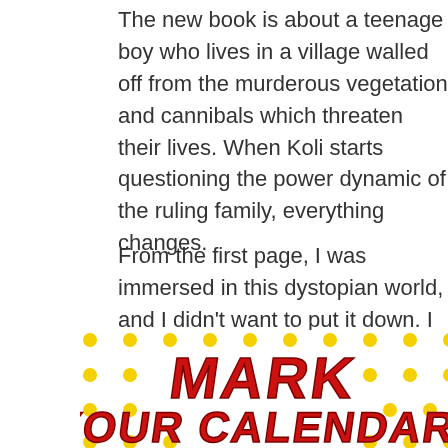The new book is about a teenage boy who lives in a village walled off from the murderous vegetation and cannibals which threaten their lives. When Koli starts questioning the power dynamic of the ruling family, everything changes.
From the first page, I was immersed in this dystopian world, and I didn't want to put it down. I can't wait to read the second book, “The Trials of Koli,” which comes out in September.
[Figure (illustration): Decorative comic-style graphic with yellow dots pattern on white background and bold red text reading 'MARK YOUR CALENDAR!' in a skewed comic book font style, partially cropped at bottom]